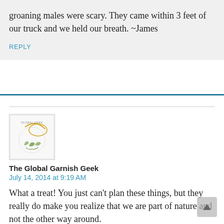groaning males were scary. They came within 3 feet of our truck and we held our breath. ~James
REPLY
[Figure (logo): Avatar/logo image for The Global Garnish Geek — circular globe-like illustration with plant elements on a white background with a thin border]
The Global Garnish Geek
July 14, 2014 at 9:19 AM
What a treat! You just can't plan these things, but they really do make you realize that we are part of nature and not the other way around.
I had a similar experience with a moose when out on a desolate trail in the north woods of MN, and I know someone who ran into a mountain lion hiking in CO (he took a photo so I knew the story